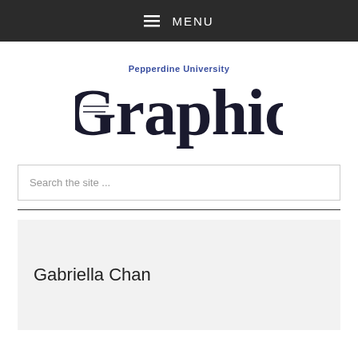≡ MENU
[Figure (logo): Pepperdine University Graphic newspaper logo in blackletter/gothic style with 'Pepperdine University' in blue above 'Graphic' in black old-English font]
Search the site ...
Gabriella Chan